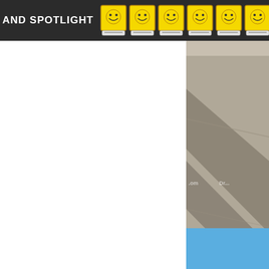AND SPOTLIGHT
[Figure (photo): Outdoor concrete surface with a dark shadow of a figure (possibly a dog or animal), watermarked with 'DresseStudio.com' repeated across the image. The photo shows a grey concrete/pavement scene with diagonal lines and shadows.]
[Figure (photo): Light blue sky or blue background area visible at bottom right corner of the page.]